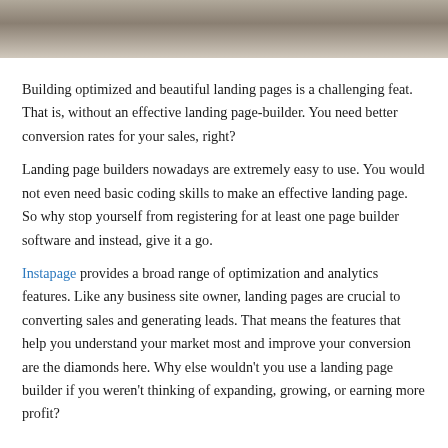[Figure (photo): Partial photo visible at top of page, appears to show a person in light and dark tones, cropped.]
Building optimized and beautiful landing pages is a challenging feat. That is, without an effective landing page-builder. You need better conversion rates for your sales, right?
Landing page builders nowadays are extremely easy to use. You would not even need basic coding skills to make an effective landing page. So why stop yourself from registering for at least one page builder software and instead, give it a go.
Instapage provides a broad range of optimization and analytics features. Like any business site owner, landing pages are crucial to converting sales and generating leads. That means the features that help you understand your market most and improve your conversion are the diamonds here. Why else wouldn't you use a landing page builder if you weren't thinking of expanding, growing, or earning more profit?